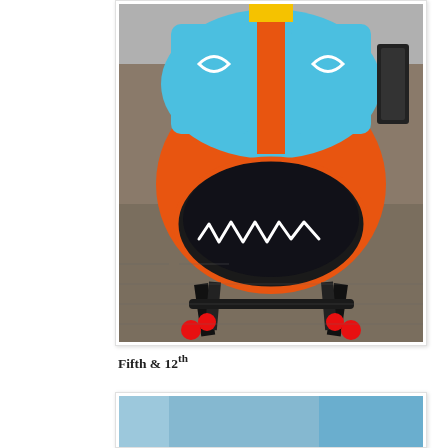[Figure (photo): A colorful decorative helmet or sculpture with blue and orange paintwork, white eye-like shapes, a black visor area with a drawn smiley/shark mouth in white, mounted on black legs with red ball feet, sitting on a metallic diamond-plate surface outdoors.]
Fifth & 12th
[Figure (photo): Partial view of another colorful artwork or sculpture, blue tones visible, cropped at bottom of page.]